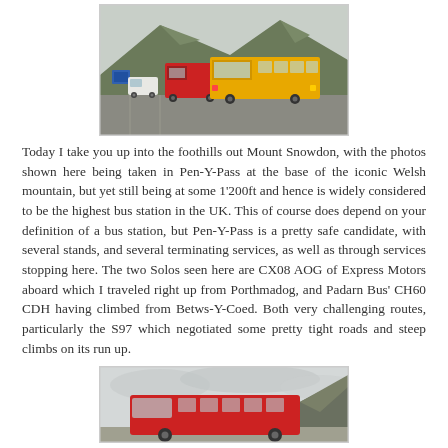[Figure (photo): Two buses parked at Pen-Y-Pass bus station with mountainous backdrop. A yellow bus is prominent on the right, a red bus behind it on the left. A car park with other vehicles and mountains covered in green grass visible in the background under overcast sky.]
Today I take you up into the foothills out Mount Snowdon, with the photos shown here being taken in Pen-Y-Pass at the base of the iconic Welsh mountain, but yet still being at some 1'200ft and hence is widely considered to be the highest bus station in the UK. This of course does depend on your definition of a bus station, but Pen-Y-Pass is a pretty safe candidate, with several stands, and several terminating services, as well as through services stopping here. The two Solos seen here are CX08 AOG of Express Motors aboard which I traveled right up from Porthmadog, and Padarn Bus' CH60 CDH having climbed from Betws-Y-Coed. Both very challenging routes, particularly the S97 which negotiated some pretty tight roads and steep climbs on its run up.
[Figure (photo): A red bus photographed against a pale overcast sky with a mountain slope visible in the background on the right.]